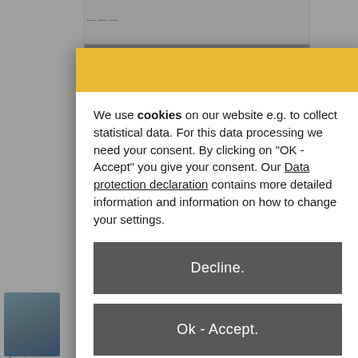[Figure (screenshot): Cookie consent modal dialog overlaying a product/e-commerce webpage. The modal has a yellow/gold header bar, white body with cookie consent text, two dark gray buttons (Decline and Ok - Accept), and an Imprint link. Partial page content is visible behind the modal on left and right edges.]
We use cookies on our website e.g. to collect statistical data. For this data processing we need your consent. By clicking on "OK - Accept" you give your consent. Our Data protection declaration contains more detailed information and information on how to change your settings.
Decline.
Ok - Accept.
Imprint